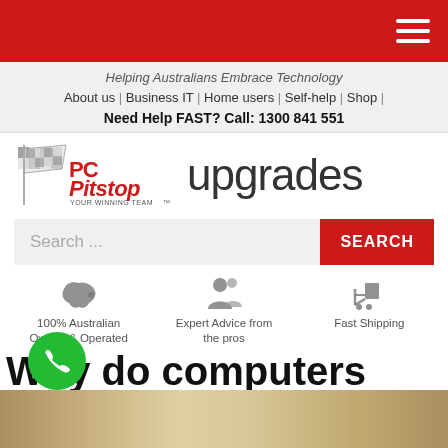PC Pitstop upgrades - Helping Australians Embrace Technology
About us | Business IT | Home users | Self-help | Shop |
Need Help FAST? Call: 1300 841 551
[Figure (logo): PC Pitstop - Your Winning Team logo with checkered flag, followed by the word 'upgrades']
Search ...
[Figure (infographic): Three trust icons: 100% Australian Owned & Operated, Expert Advice from the pros, Fast Shipping]
Why do computers slow down?
Be... | 02/11/2015